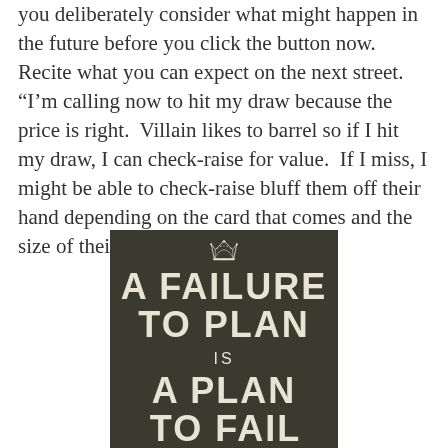you deliberately consider what might happen in the future before you click the button now. Recite what you can expect on the next street. “I’m calling now to hit my draw because the price is right.  Villain likes to barrel so if I hit my draw, I can check-raise for value.  If I miss, I might be able to check-raise bluff them off their hand depending on the card that comes and the size of their bet.”
[Figure (illustration): A dark olive/army green poster styled like the 'Keep Calm' posters, featuring a crown at the top and the text 'A FAILURE TO PLAN IS A PLAN TO FAIL' in large bold white letters.]